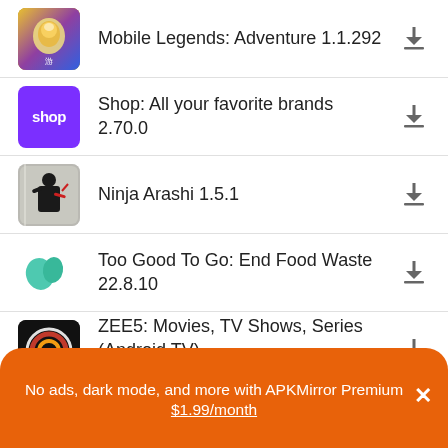Mobile Legends: Adventure 1.1.292
Shop: All your favorite brands 2.70.0
Ninja Arashi 1.5.1
Too Good To Go: End Food Waste 22.8.10
ZEE5: Movies, TV Shows, Series (Android TV) 5.17.0
ZEE5: Movies, TV Shows, Series 35.1556205.0
No ads, dark mode, and more with APKMirror Premium × $1.99/month